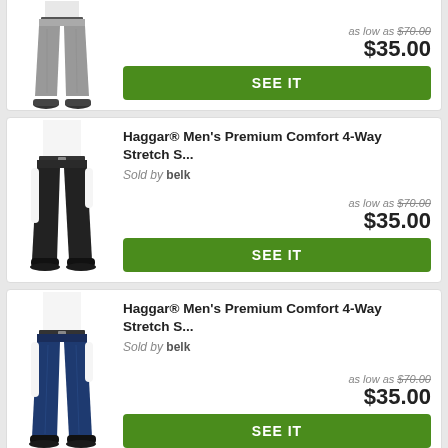[Figure (photo): Gray dress pants product photo (partially visible, top cropped)]
as low as $70.00
$35.00
SEE IT
[Figure (photo): Black dress pants product photo - Haggar Men's Premium Comfort 4-Way Stretch]
Haggar® Men's Premium Comfort 4-Way Stretch S...
Sold by belk
as low as $70.00
$35.00
SEE IT
[Figure (photo): Navy/dark blue dress pants product photo - Haggar Men's Premium Comfort 4-Way Stretch]
Haggar® Men's Premium Comfort 4-Way Stretch S...
Sold by belk
as low as $70.00
$35.00
SEE IT